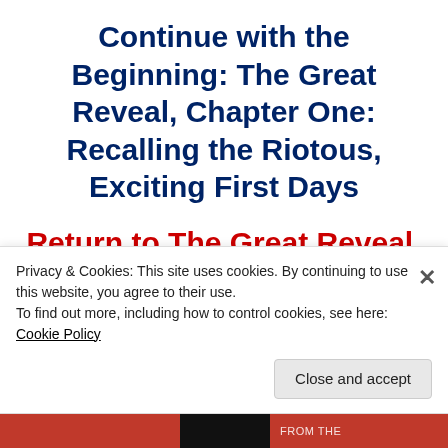Continue with the Beginning: The Great Reveal, Chapter One: Recalling the Riotous, Exciting First Days
Return to The Great Reveal, Chapter Forty: The Thirty-Second Prasad. Human
Privacy & Cookies: This site uses cookies. By continuing to use this website, you agree to their use. To find out more, including how to control cookies, see here: Cookie Policy